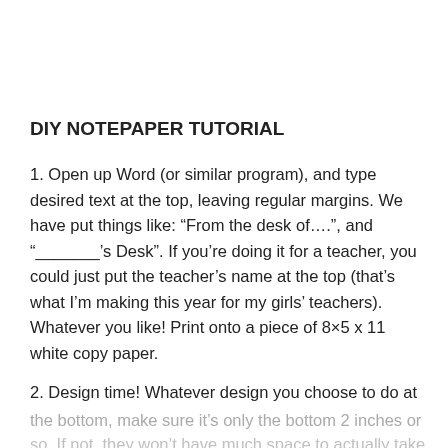DIY NOTEPAPER TUTORIAL
1.  Open up Word (or similar program), and type desired text at the top, leaving regular margins.  We have put things like: “From the desk of….”, and “_______’s Desk”.  If you’re doing it for a teacher, you could just put the teacher’s name at the top (that’s what I’m making this year for my girls’ teachers). Whatever you like!  Print onto a piece of 8×5 x 11 white copy paper.
2.  Design time!  Whatever design you choose to do at the bottom, make sure it’s only the bottom 2 inches or so.  If not, they won’t have much space to actually take